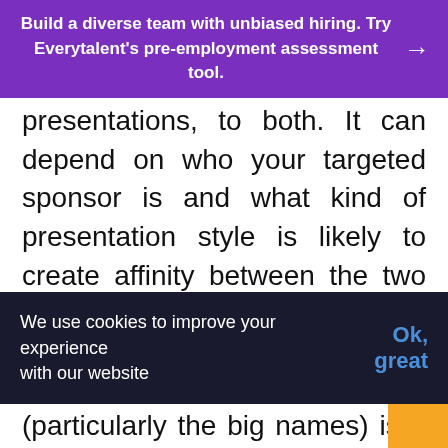Build a diverse team with unbiased hiring. Try Everytalent's pre-employment assessment tool. →
presentations, to both. It can depend on who your targeted sponsor is and what kind of presentation style is likely to create affinity between the two parties, but there are a few general rules to abide by, regardless of your pitching mediums.
1: Create A Cohesive Message
Make your message concise and to the
We use cookies to improve your experience with our website
(particularly the big names) is a lot of